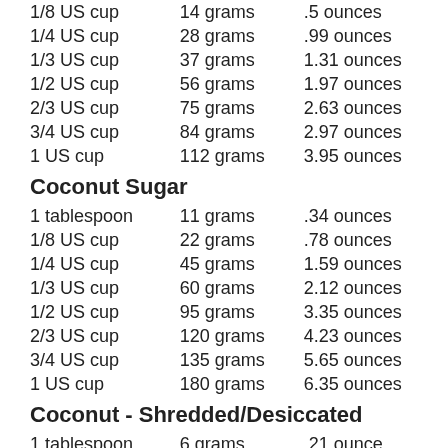| 1/8 US cup | 14 grams | .5 ounces |
| 1/4 US cup | 28 grams | .99 ounces |
| 1/3 US cup | 37 grams | 1.31 ounces |
| 1/2 US cup | 56 grams | 1.97 ounces |
| 2/3 US cup | 75 grams | 2.63 ounces |
| 3/4 US cup | 84 grams | 2.97 ounces |
| 1 US cup | 112 grams | 3.95 ounces |
Coconut Sugar
| 1 tablespoon | 11 grams | .34 ounces |
| 1/8 US cup | 22 grams | .78 ounces |
| 1/4 US cup | 45 grams | 1.59 ounces |
| 1/3 US cup | 60 grams | 2.12 ounces |
| 1/2 US cup | 95 grams | 3.35 ounces |
| 2/3 US cup | 120 grams | 4.23 ounces |
| 3/4 US cup | 135 grams | 5.65 ounces |
| 1 US cup | 180 grams | 6.35 ounces |
Coconut - Shredded/Desiccated
| 1 tablespoon | 6 grams | .21 ounce |
| 1/8 US cup | 12 grams | .42 ounce |
| 1/4 US cup | 24 grams | .85 ounce |
| 1/3 US cup | 32 grams | 1.2 ounce |
| 1/2 US cup | 48 grams | 1.7 ounce |